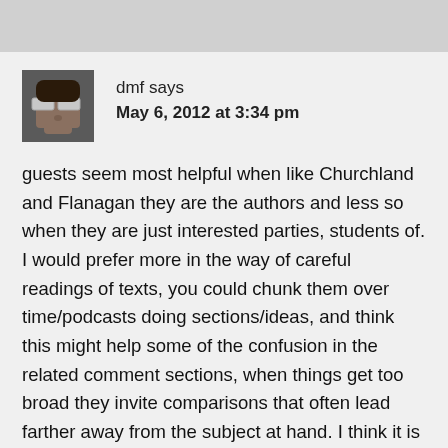[Figure (photo): Small avatar photo of a person with tape or paper covering their eyes, used as a comment profile picture.]
dmf says
May 6, 2012 at 3:34 pm
guests seem most helpful when like Churchland and Flanagan they are the authors and less so when they are just interested parties, students of. I would prefer more in the way of careful readings of texts, you could chunk them over time/podcasts doing sections/ideas, and think this might help some of the confusion in the related comment sections, when things get too broad they invite comparisons that often lead farther away from the subject at hand. I think it is important to try and get a grip on an author